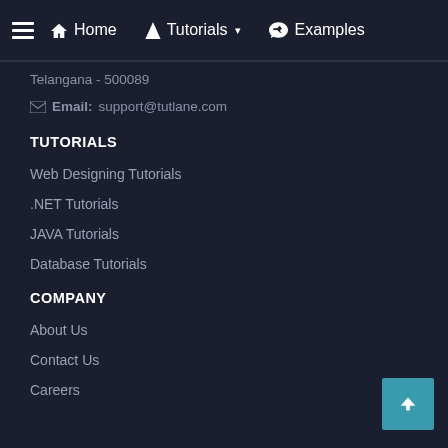≡ Home  🌲 Tutorials ▾  💬 Examples
Telangana - 500089
✉ Email: support@tutlane.com
TUTORIALS
Web Designing Tutorials
.NET Tutorials
JAVA Tutorials
Database Tutorials
COMPANY
About Us
Contact Us
Careers